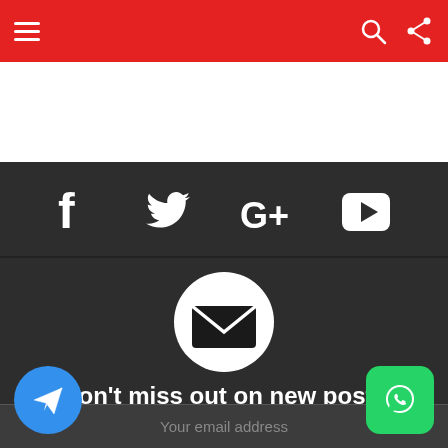Navigation bar with hamburger menu, search, and share icons
[Figure (infographic): Social media icons row: Facebook, Twitter, Google+, YouTube on dark background]
[Figure (infographic): White circle with envelope/email icon in center]
Don't miss out on new posts
Your email address
[Figure (infographic): Telegram floating action button (blue circle) at bottom left]
[Figure (infographic): WhatsApp floating action button (green rounded square) at bottom right]